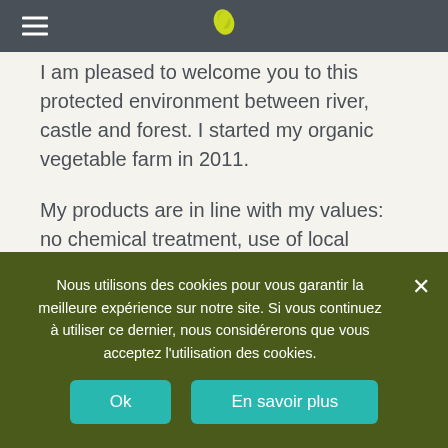[Navigation header with hamburger menu and bird logo]
I am pleased to welcome you to this protected environment between river, castle and forest. I started my organic vegetable farm in 2011.
My products are in line with my values: no chemical treatment, use of local distribution, self-sufficiency, along with respect for all things living and the farm's way of life.
Have fun listening and have a good visit!
SALE ON SITE
Nous utilisons des cookies pour vous garantir la meilleure expérience sur notre site. Si vous continuez à utiliser ce dernier, nous considérerons que vous acceptez l'utilisation des cookies.
Ok
En savoir plus